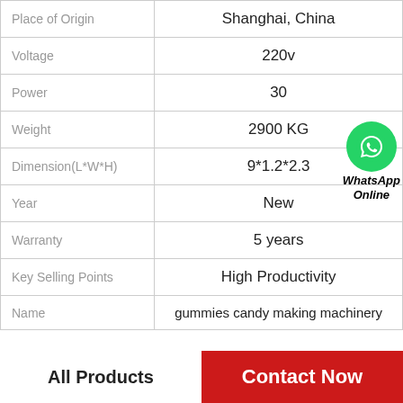| Property | Value |
| --- | --- |
| Place of Origin | Shanghai, China |
| Voltage | 220v |
| Power | 30 |
| Weight | 2900 KG |
| Dimension(L*W*H) | 9*1.2*2.3 |
| Year | New |
| Warranty | 5 years |
| Key Selling Points | High Productivity |
| Name | gummies candy making machinery |
All Products
Contact Now